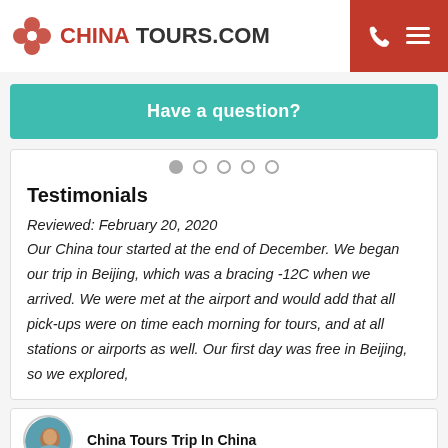[Figure (logo): ChinaTours.com logo with red flower icon and bold red/dark text]
[Figure (infographic): Red header action bar with white phone icon and hamburger menu icon]
Have a question?
Testimonials
Reviewed: February 20, 2020
Our China tour started at the end of December. We began our trip in Beijing, which was a bracing -12C when we arrived. We were met at the airport and would add that all pick-ups were on time each morning for tours, and at all stations or airports as well. Our first day was free in Beijing, so we explored,
[Figure (photo): Circular avatar photo of a person, partially visible at bottom]
China Tours Trip In China